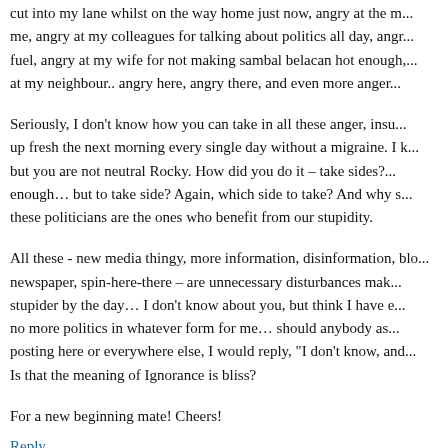cut into my lane whilst on the way home just now, angry at the m... me, angry at my colleagues for talking about politics all day, angr... fuel, angry at my wife for not making sambal belacan hot enough,... at my neighbour.. angry here, angry there, and even more anger...
Seriously, I don't know how you can take in all these anger, insu... up fresh the next morning every single day without a migraine. I k... but you are not neutral Rocky. How did you do it – take sides?... enough… but to take side? Again, which side to take? And why s... these politicians are the ones who benefit from our stupidity.
All these - new media thingy, more information, disinformation, blo... newspaper, spin-here-there – are unnecessary disturbances mak... stupider by the day… I don't know about you, but think I have e... no more politics in whatever form for me… should anybody as... posting here or everywhere else, I would reply, "I don't know, and... Is that the meaning of Ignorance is bliss?
For a new beginning mate! Cheers!
Reply
Anonymous  5:52 am
To',
Keep up the good work and as Eddy says "pedulikan orang yan...